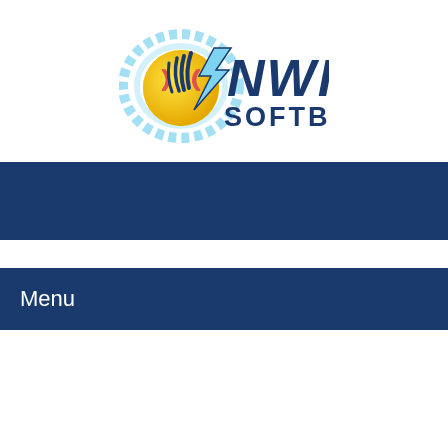[Figure (logo): NWI Softball logo with a yellow softball with claw marks and blue lightning bolt, and the text NWI SOFTBALL in navy blue]
[Figure (other): Dark navy blue navigation bar, full width]
Menu
PLAYERS
COACHES